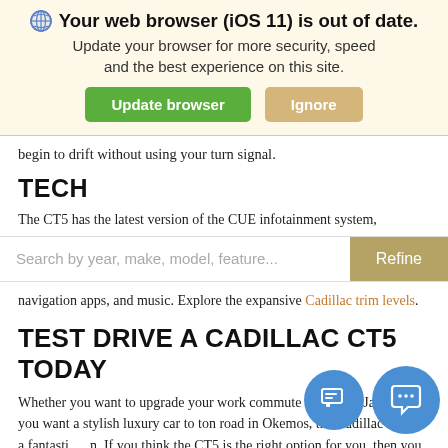[Figure (screenshot): Browser update notification banner with globe icon, bold warning text, and two buttons: 'Update browser' (green) and 'Ignore' (tan/gold)]
begin to drift without using your turn signal.
TECH
The CT5 has the latest version of the CUE infotainment system,
[Figure (screenshot): Search bar with placeholder text 'Search by year, make, model, feature...' and a 'Refine' button on the right]
navigation apps, and music. Explore the expansive Cadillac trim levels.
TEST DRIVE A CADILLAC CT5 TODAY
Whether you want to upgrade your work commute vehicle in Jackson or you want a stylish luxury car to town on road in Okemos, the Cadillac CT5 is a fantastic on. If you think the CT5 is the right option for you, then you should take